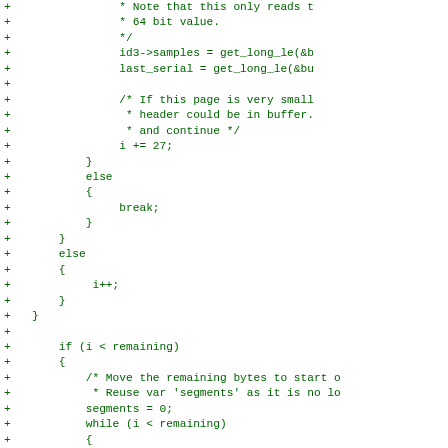Diff/patch code block showing additions to a C source file. Lines include: 64 bit value. comment, id3->samples = get_long_le(&b, last_serial = get_long_le(&bu, If this page is very small comment, header could be in buffer, and continue, i += 27;, }, else, {, break;, }, }, else, {, i++;, }, }, if (i < remaining), {, Move the remaining bytes to start comment, Reuse var segments comment, segments = 0;, while (i < remaining), {, buf[segments++] = buf[i++];, }